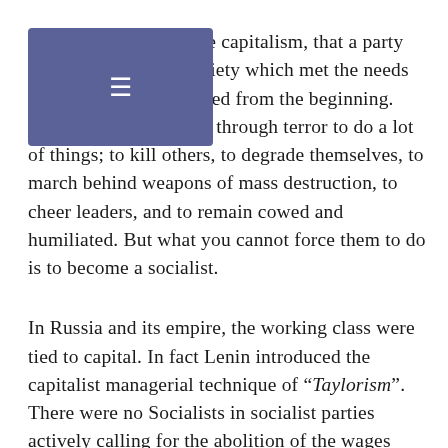The utopianism of state capitalism, that a party elite could create a society which met the needs of all society, was flawed from the beginning. You can force a person through terror to do a lot of things; to kill others, to degrade themselves, to march behind weapons of mass destruction, to cheer leaders, and to remain cowed and humiliated. But what you cannot force them to do is to become a socialist.
In Russia and its empire, the working class were tied to capital. In fact Lenin introduced the capitalist managerial technique of “Taylorism”. There were no Socialists in socialist parties actively calling for the abolition of the wages system. The programme pursued by the state was to keep the working class as a working class, not to liberate it from employers. And, of course, the constant feature found in countries like Russia, when state capitalism was dominant, was in the hands...